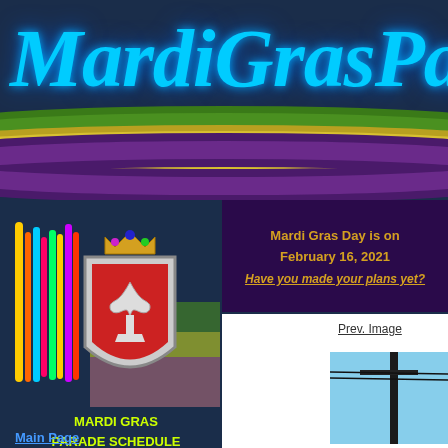MardiGrasPar
[Figure (illustration): Three curved decorative stripes in Mardi Gras colors: green, gold, and purple, sweeping horizontally across the header area]
[Figure (logo): Mardi Gras emblem featuring a shield with fleur-de-lis, crown, colorful feathers/streamers, in stained-glass style illustration]
MARDI GRAS PARADE SCHEDULE MAIN MENU
Mardi Gras Day is on February 16, 2021 Have you made your plans yet?
Prev. Image
[Figure (photo): Photo thumbnail showing what appears to be a street scene with a utility pole]
Main Page
Mardi Gras Schedule
Mardi Gras Map